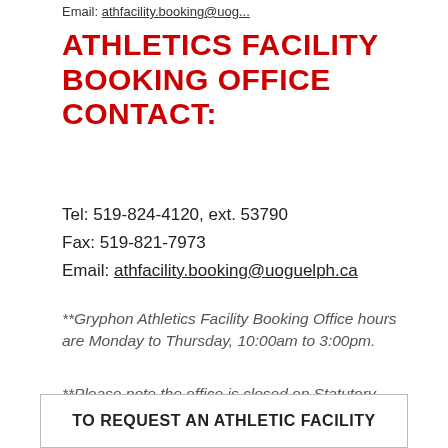Email: [link]
ATHLETICS FACILITY BOOKING OFFICE CONTACT:
Tel: 519-824-4120, ext. 53790
Fax: 519-821-7973
Email: athfacility.booking@uoguelph.ca
**Gryphon Athletics Facility Booking Office hours are Monday to Thursday, 10:00am to 3:00pm.
**Please note the office is closed on Statutory holidays.
TO REQUEST AN ATHLETIC FACILITY